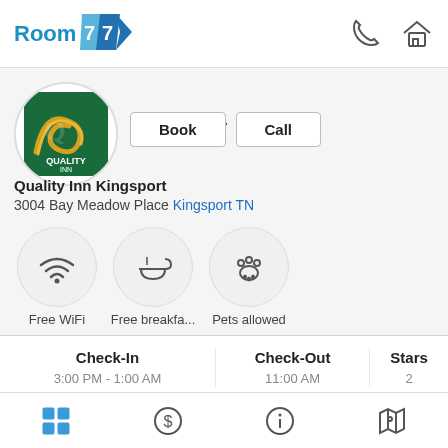Room 77 — navigation bar with phone and home icons
[Figure (logo): Quality Inn hotel logo — green rounded square with yellow Q swirl and text QUALITY INN]
Quality Inn
Book   Call
Quality Inn Kingsport
3004 Bay Meadow Place Kingsport TN
[Figure (infographic): Three amenity icons in circles: Free WiFi, Free breakfast, Pets allowed]
| Check-In | Check-Out | Stars |
| --- | --- | --- |
| 3:00 PM - 1:00 AM | 11:00 AM | 2 |
Bottom navigation: grid, dollar, info, map icons